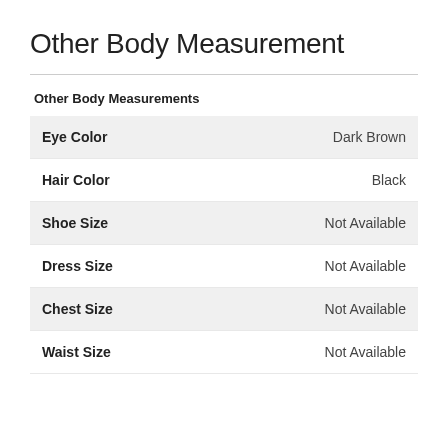Other Body Measurement
Other Body Measurements
|  |  |
| --- | --- |
| Eye Color | Dark Brown |
| Hair Color | Black |
| Shoe Size | Not Available |
| Dress Size | Not Available |
| Chest Size | Not Available |
| Waist Size | Not Available |